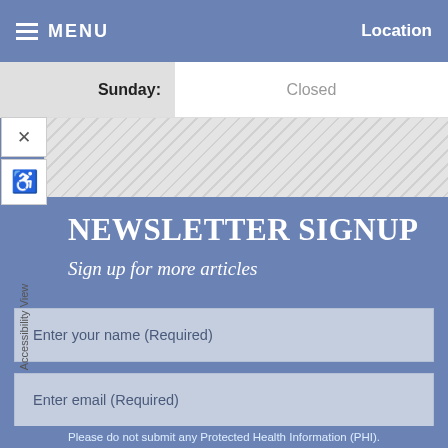MENU   Location
| Day | Hours |
| --- | --- |
| Sunday: | Closed |
[Figure (screenshot): Accessibility sidebar with close (X) button, wheelchair accessibility icon, and vertical 'Accessibility View' text label]
NEWSLETTER SIGNUP
Sign up for more articles
Enter your name (Required)
Enter email (Required)
(XXX)XXX-XXXX (Required)
Please do not submit any Protected Health Information (PHI).